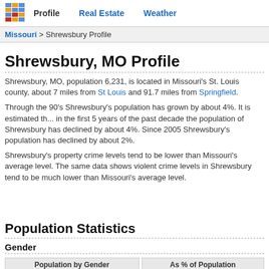Profile | Real Estate | Weather
Missouri > Shrewsbury Profile
Shrewsbury, MO Profile
Shrewsbury, MO, population 6,231, is located in Missouri's St. Louis county, about 7 miles from St Louis and 91.7 miles from Springfield.
Through the 90's Shrewsbury's population has grown by about 4%. It is estimated that in the first 5 years of the past decade the population of Shrewsbury has declined by about 4%. Since 2005 Shrewsbury's population has declined by about 2%.
Shrewsbury's property crime levels tend to be lower than Missouri's average level. The same data shows violent crime levels in Shrewsbury tend to be much lower than Missouri's average level.
Population Statistics
Gender
| Population by Gender | As % of Population |
| --- | --- |